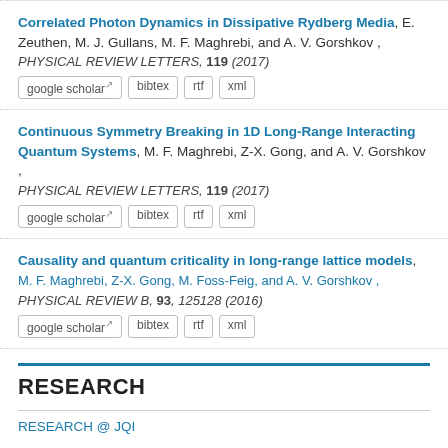Correlated Photon Dynamics in Dissipative Rydberg Media, E. Zeuthen, M. J. Gullans, M. F. Maghrebi, and A. V. Gorshkov , PHYSICAL REVIEW LETTERS, 119 (2017)
Continuous Symmetry Breaking in 1D Long-Range Interacting Quantum Systems, M. F. Maghrebi, Z-X. Gong, and A. V. Gorshkov , PHYSICAL REVIEW LETTERS, 119 (2017)
Causality and quantum criticality in long-range lattice models, M. F. Maghrebi, Z-X. Gong, M. Foss-Feig, and A. V. Gorshkov , PHYSICAL REVIEW B, 93, 125128 (2016)
RESEARCH
RESEARCH @ JQI